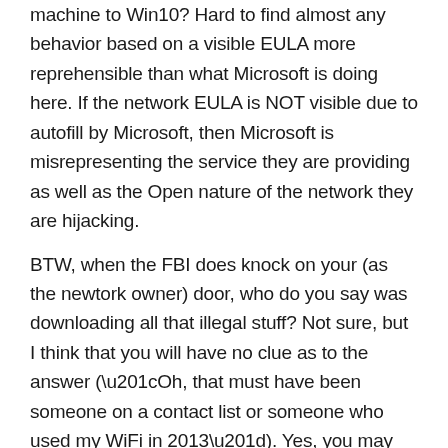machine to Win10? Hard to find almost any behavior based on a visible EULA more reprehensible than what Microsoft is doing here. If the network EULA is NOT visible due to autofill by Microsoft, then Microsoft is misrepresenting the service they are providing as well as the Open nature of the network they are hijacking. BTW, when the FBI does knock on your (as the newtork owner) door, who do you say was downloading all that illegal stuff? Not sure, but I think that you will have no clue as to the answer (“Oh, that must have been someone on a contact list or someone who used my WiFi in 2013”). Yes, you may not be liable under DMCA, but you may also go through quite a bit of pain and cost to prove your case.
Is it really possible that WiFi Sense is a legal service? Seems to me it is WiFi Sense that is on thin legal